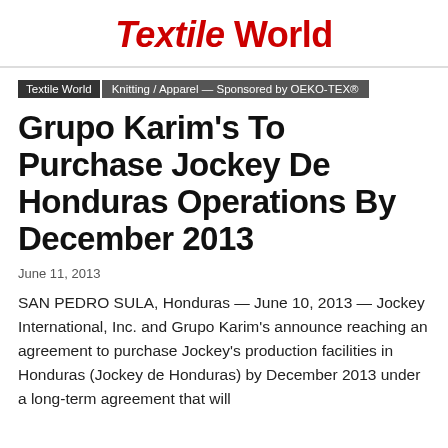Textile World
Textile World | Knitting / Apparel — Sponsored by OEKO-TEX®
Grupo Karim's To Purchase Jockey De Honduras Operations By December 2013
June 11, 2013
SAN PEDRO SULA, Honduras — June 10, 2013 — Jockey International, Inc. and Grupo Karim's announce reaching an agreement to purchase Jockey's production facilities in Honduras (Jockey de Honduras) by December 2013 under a long-term agreement that will